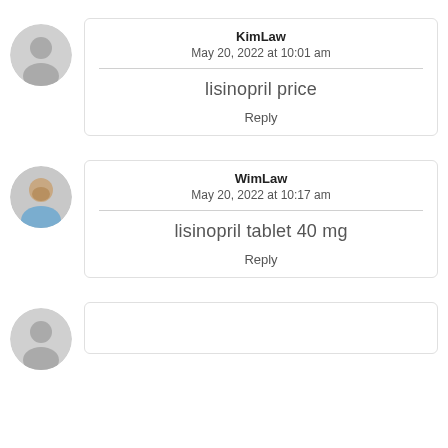KimLaw
May 20, 2022 at 10:01 am
lisinopril price
Reply
WimLaw
May 20, 2022 at 10:17 am
lisinopril tablet 40 mg
Reply
SueLaw (partial)